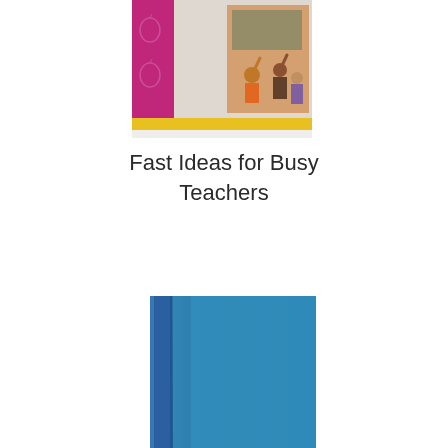[Figure (illustration): Book cover for 'Fast Ideas for Busy Teachers' showing a magenta/pink left panel with apple decorations, a blurred background image, and a classroom photo inset of students raising hands, with a yellow horizontal stripe across the bottom]
Fast Ideas for Busy Teachers
[Figure (illustration): Blue hardcover book shown at an angle with a darker spine on the left side, solid teal/blue cover with no text visible]